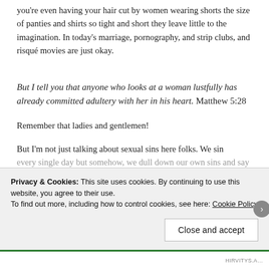you're even having your hair cut by women wearing shorts the size of panties and shirts so tight and short they leave little to the imagination. In today's marriage, pornography, and strip clubs, and risqué movies are just okay.
But I tell you that anyone who looks at a woman lustfully has already committed adultery with her in his heart. Matthew 5:28
Remember that ladies and gentlemen!
But I'm not just talking about sexual sins here folks. We sin every single day but somehow, we dull down our own sins and say
Privacy & Cookies: This site uses cookies. By continuing to use this website, you agree to their use.
To find out more, including how to control cookies, see here: Cookie Policy
Close and accept